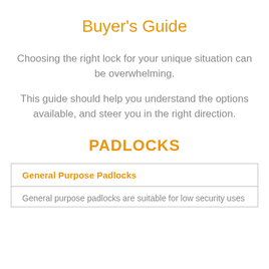Buyer's Guide
Choosing the right lock for your unique situation can be overwhelming.
This guide should help you understand the options available, and steer you in the right direction.
PADLOCKS
| General Purpose Padlocks |
| --- |
| General purpose padlocks are suitable for low security uses |